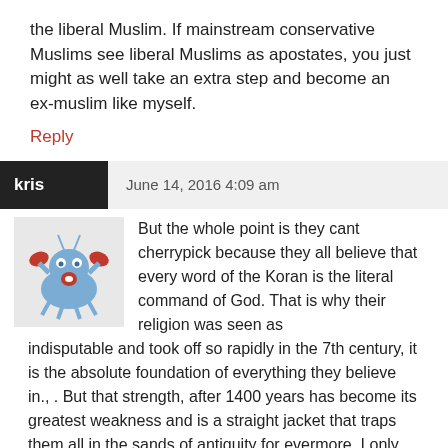the liberal Muslim. If mainstream conservative Muslims see liberal Muslims as apostates, you just might as well take an extra step and become an ex-muslim like myself.
Reply
kris   June 14, 2016 4:09 am
[Figure (illustration): Cartoon crab avatar image — blue crab with red claws on light gray background]
But the whole point is they cant cherrypick because they all believe that every word of the Koran is the literal command of God. That is why their religion was seen as indisputable and took off so rapidly in the 7th century, it is the absolute foundation of everything they believe in., . But that strength, after 1400 years has become its greatest weakness and is a straight jacket that traps them all in the sands of antiquity for evermore. I only wish they could cherry pick and I wish they could reform